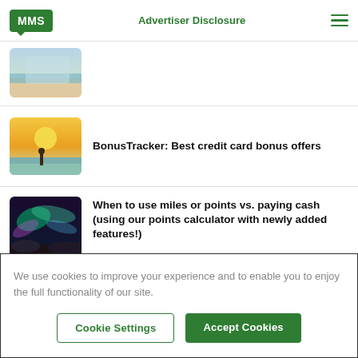MMS | Advertiser Disclosure
[Figure (photo): Beach/ocean scene thumbnail (partially visible)]
[Figure (photo): Person on beach with surfboard at sunset thumbnail]
BonusTracker: Best credit card bonus offers
[Figure (photo): Northern lights / aurora borealis thumbnail]
When to use miles or points vs. paying cash (using our points calculator with newly added features!)
We use cookies to improve your experience and to enable you to enjoy the full functionality of our site.
Cookie Settings
Accept Cookies